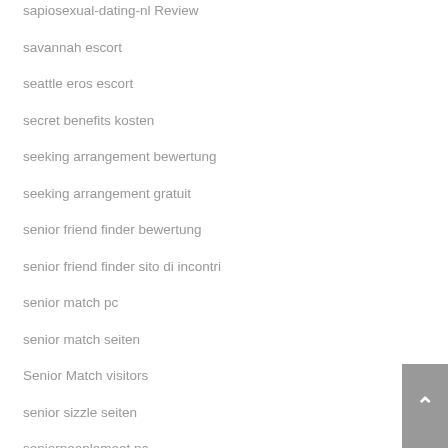sapiosexual-dating-nl Review
savannah escort
seattle eros escort
secret benefits kosten
seeking arrangement bewertung
seeking arrangement gratuit
senior friend finder bewertung
senior friend finder sito di incontri
senior match pc
senior match seiten
Senior Match visitors
senior sizzle seiten
seniorpeoplemeet pc
sex